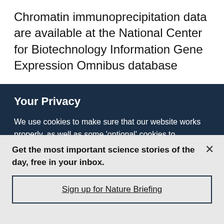Chromatin immunoprecipitation data are available at the National Center for Biotechnology Information Gene Expression Omnibus database
Your Privacy
We use cookies to make sure that our website works properly, as well as some 'optional' cookies to personalise content and advertising, provide social media features and analyse how people use our site. By accepting some or all optional cookies you give consent to the processing of your personal data, including transfer to third parties, some in countries outside of the European Economic Area that do not offer the same data protection standards as the country where you live. You can decide which optional cookies to accept by clicking on 'Manage Settings', where you can
Get the most important science stories of the day, free in your inbox.
Sign up for Nature Briefing